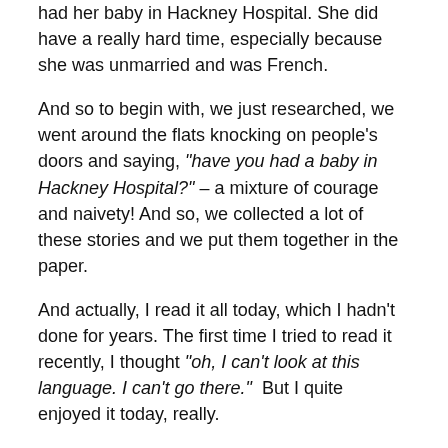had her baby in Hackney Hospital. She did have a really hard time, especially because she was unmarried and was French.
And so to begin with, we just researched, we went around the flats knocking on people’s doors and saying, “have you had a baby in Hackney Hospital?” – a mixture of courage and naivety! And so, we collected a lot of these stories and we put them together in the paper.
And actually, I read it all today, which I hadn’t done for years. The first time I tried to read it recently, I thought “oh, I can’t look at this language. I can’t go there.”  But I quite enjoyed it today, really.
The interesting thing is over the last 10, 15 years, I’ve worked in a place we call the spiritual care center. It’s a place for people who are living with illness or facing dying